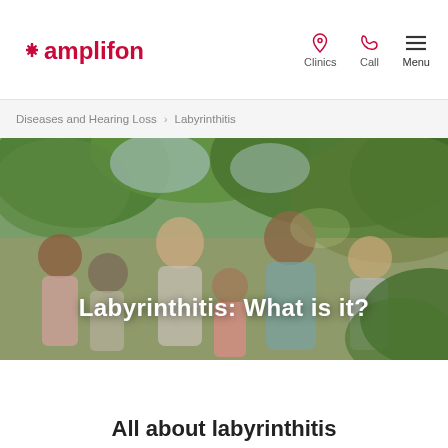amplifon — Clinics | Call | Menu
Diseases and Hearing Loss > Labyrinthitis
[Figure (photo): Family group of adults and children laughing outdoors under green trees, hero banner image]
Labyrinthitis: What is it?
All about labyrinthitis